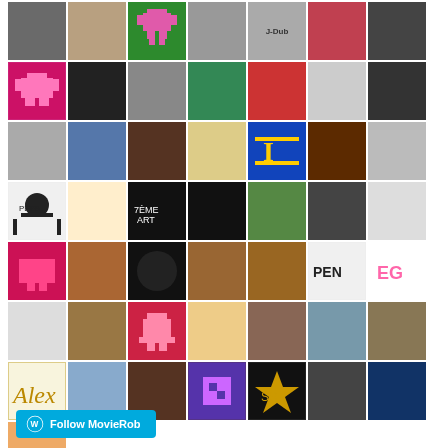[Figure (infographic): A grid of approximately 57 avatar/profile images arranged in 8 rows of up to 7 avatars each, plus one partial row. The avatars include photos of people, cartoon/pixel art characters, logos, and illustrations. At the bottom left is a 'Follow MovieRob' button with a WordPress icon.]